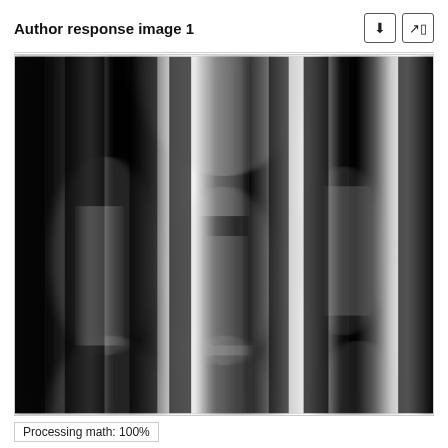Author response image 1
[Figure (continuous-plot): Grayscale image showing vertical streaks and blurred wave-like patterns in black and white, resembling a sinusoidal interference pattern or optical fringe pattern viewed from above. Bright white vertical bands alternate with dark black regions with gradual blurring transitions, arranged in a repeating pattern across the image.]
Processing math: 100%